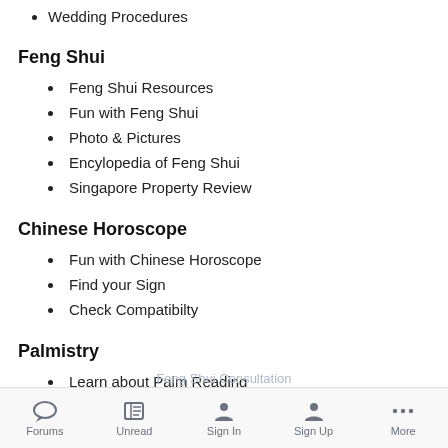Wedding Procedures
Feng Shui
Feng Shui Resources
Fun with Feng Shui
Photo & Pictures
Encylopedia of Feng Shui
Singapore Property Review
Chinese Horoscope
Fun with Chinese Horoscope
Find your Sign
Check Compatibilty
Palmistry
Learn about Palm Reading
Forums  Unread  Sign In  Sign Up  More
Feng Shui Consultation